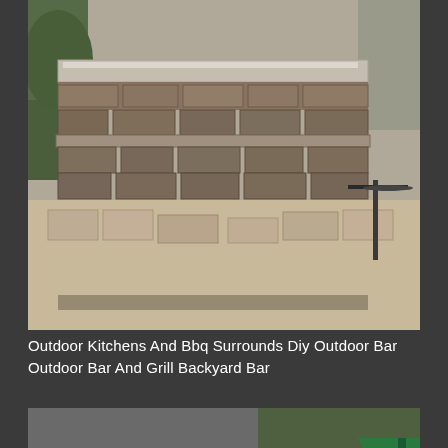[Figure (photo): Outdoor kitchen bar made of stacked stone blocks with a flat countertop, situated on a patio with paved ground, greenery in background and patio furniture visible on the right.]
Outdoor Kitchens And Bbq Surrounds Diy Outdoor Bar Outdoor Bar And Grill Backyard Bar
[Figure (photo): Under-construction outdoor kitchen with concrete block U-shaped structure, house exterior with window visible in background, green umbrella on right, wooden fence and trees in back.]